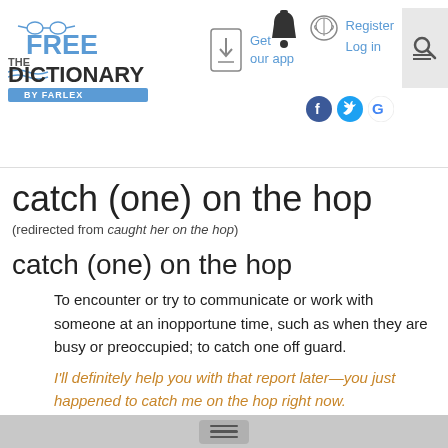The Free Dictionary by Farlex — Get our app — Register Log in
catch (one) on the hop
(redirected from caught her on the hop)
catch (one) on the hop
To encounter or try to communicate or work with someone at an inopportune time, such as when they are busy or preoccupied; to catch one off guard.
I'll definitely help you with that report later—you just happened to catch me on the hop right now.